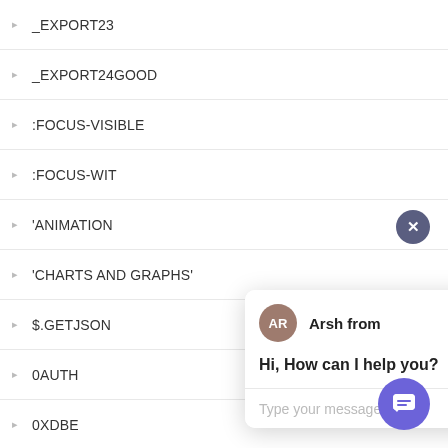_EXPORT23
_EXPORT24GOOD
:FOCUS-VISIBLE
:FOCUS-WIT
'ANIMATION
'CHARTS AND GRAPHS'
$.GETJSON
0AUTH
0XDBE
[Figure (screenshot): Chat popup from Arsh with message 'Hi, How can I help you?' and a text input field. Close button (x) in top right. Purple chat launcher button at bottom right.]